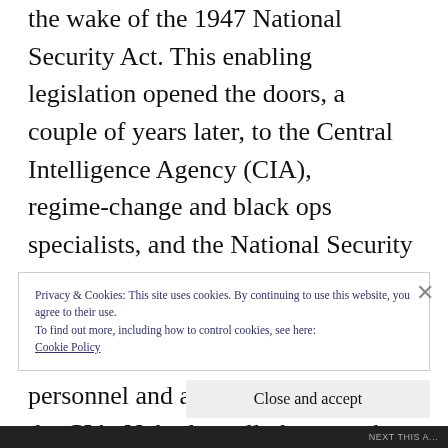the wake of the 1947 National Security Act. This enabling legislation opened the doors, a couple of years later, to the Central Intelligence Agency (CIA), regime-change and black ops specialists, and the National Security Agency (NSA), the world's foremost wire tapper, signals grabber and hacker. The NSA allegedly has more personnel and a bigger budget than the CIA. Nobody really knows what goes on at the bottom those two murky ponds. What little we do know is thanks to brave and selfless
Privacy & Cookies: This site uses cookies. By continuing to use this website, you agree to their use.
To find out more, including how to control cookies, see here:
Cookie Policy
Close and accept
NEXT THIS A…